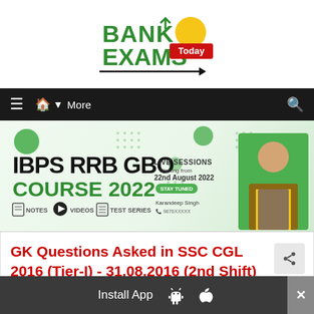[Figure (logo): Bank Exams Today logo — 'BANK EXAMS' in bold green letters with 'Today' on a red badge, yellow sun graphic, and black underline]
[Figure (infographic): IBPS RRB GBO Course 2022 promotional banner — shows course name in bold black/green, live sessions starting 22nd August 2022, notes/videos/test series icons, and instructor photo (Karandeep Singh)]
GK Questions Asked in SSC CGL 2016 (Tier-I) - 31.08.2016 (2nd Shift)
[Figure (infographic): Install App bar with Android and Apple icons and a close button]